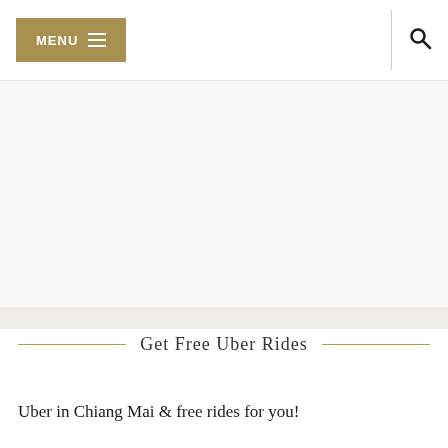MENU | [search icon]
[Figure (other): Large white/light grey banner area placeholder for an advertisement or image]
Get Free Uber Rides
Uber in Chiang Mai & free rides for you!